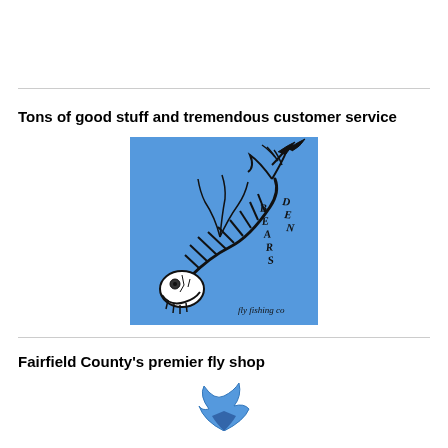Tons of good stuff and tremendous customer service
[Figure (logo): Bear's Den Fly Fishing Co logo — blue square background with a fish skeleton illustration and gothic-style text reading BEARS DEN fly fishing co]
Fairfield County's premier fly shop
[Figure (logo): Partial fly fishing logo visible at bottom of page — blue bird/fish shape partially cropped]